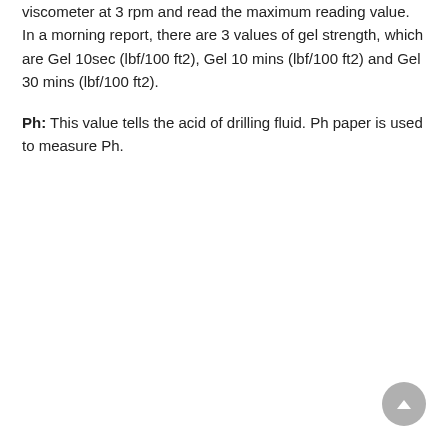viscometer at 3 rpm and read the maximum reading value. In a morning report, there are 3 values of gel strength, which are Gel 10sec (lbf/100 ft2), Gel 10 mins (lbf/100 ft2) and Gel 30 mins (lbf/100 ft2).
Ph: This value tells the acid of drilling fluid. Ph paper is used to measure Ph.